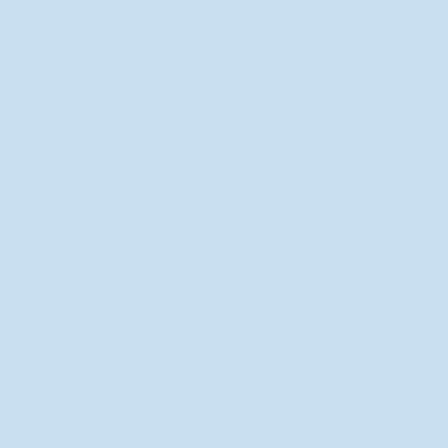needed to achieve that is install USB connected USB device...
Category: Internet / Remote Access
Publisher: Net USB Software, License: S
Platform: Windows
USB over IP Connector
USB over IP Connector is the essential tool to work with USB devices over network. You can easily work with remote USB devices as if they were connected to your local computer.
With USB over IP Connector you'll need to work with devices plugged into remote computers on the network and work with those devices as if they were local. All you need to achieve that is install USB over IP Connector on each device (server machine)...
Category: Internet / Remote Access
Publisher: Virtual Serial Port Software, L
MB
Platform: Windows
Software 1-20 of 359  |  Go to 1 2 3 4 5 6 7 8 9